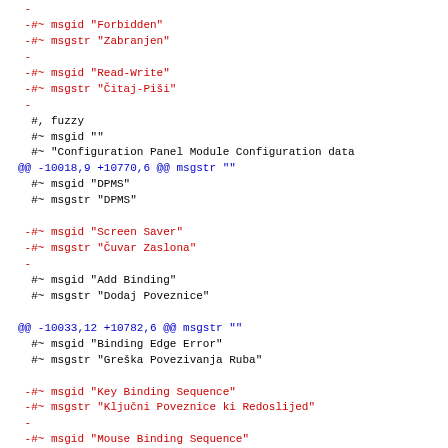diff code block showing git diff output with msgid/msgstr translations in red (removed) and blue (context/hunk headers), black (unchanged)